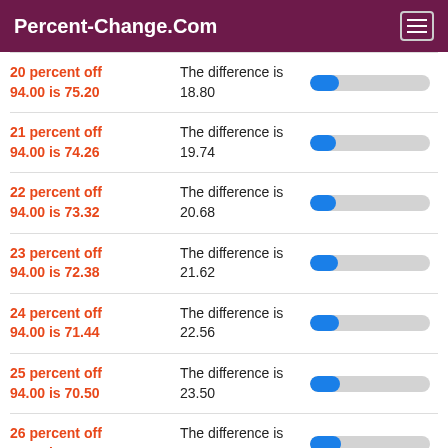Percent-Change.Com
20 percent off 94.00 is 75.20 | The difference is 18.80
21 percent off 94.00 is 74.26 | The difference is 19.74
22 percent off 94.00 is 73.32 | The difference is 20.68
23 percent off 94.00 is 72.38 | The difference is 21.62
24 percent off 94.00 is 71.44 | The difference is 22.56
25 percent off 94.00 is 70.50 | The difference is 23.50
26 percent off 94.00 is 69.56 | The difference is 24.44